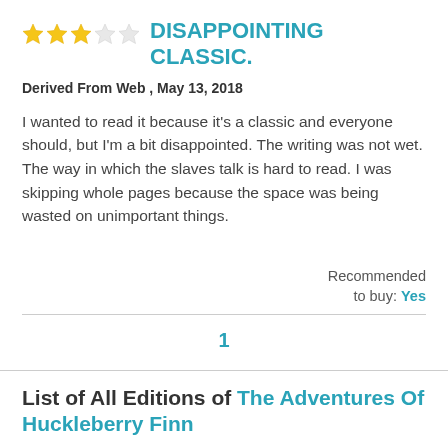DISAPPOINTING CLASSIC.
Derived From Web , May 13, 2018
I wanted to read it because it's a classic and everyone should, but I'm a bit disappointed. The writing was not wet. The way in which the slaves talk is hard to read. I was skipping whole pages because the space was being wasted on unimportant things.
Recommended to buy: Yes
1
List of All Editions of The Adventures Of Huckleberry Finn